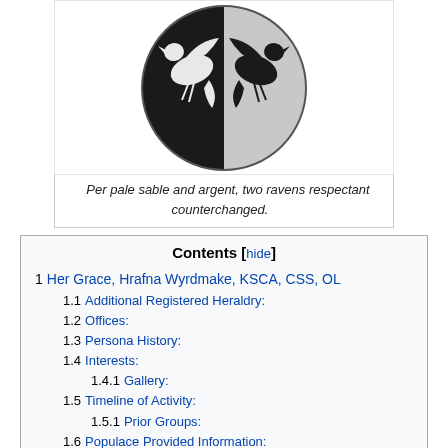[Figure (photo): Circular heraldic shield divided per pale sable and argent, with two ravens respectant counterchanged — one white bird on the black half and one black bird on the silver half.]
Per pale sable and argent, two ravens respectant counterchanged.
Contents [hide]
1 Her Grace, Hrafna Wyrdmake, KSCA, CSS, OL
1.1 Additional Registered Heraldry:
1.2 Offices:
1.3 Persona History:
1.4 Interests:
1.4.1 Gallery:
1.5 Timeline of Activity:
1.5.1 Prior Groups:
1.6 Populace Provided Information:
1.6.1 Rónán Fionn Ó Dubáin
1.7 Notable Contributions or Accomplishments:
1.7.1 Non-Armigerous Awards and Recognitions:
1.8 Affiliati...